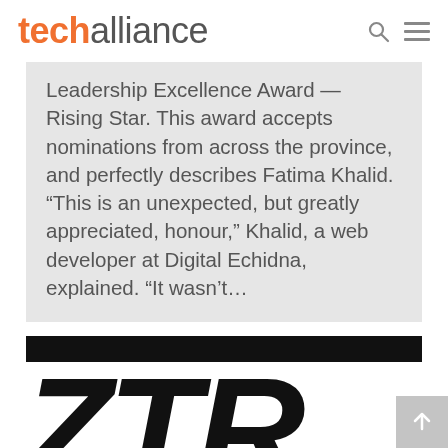techalliance
Leadership Excellence Award — Rising Star. This award accepts nominations from across the province, and perfectly describes Fatima Khalid. “This is an unexpected, but greatly appreciated, honour,” Khalid, a web developer at Digital Echidna, explained. “It wasn’t…
[Figure (logo): Large bold italic letters ZTR in black, preceded by a thick black horizontal bar above]